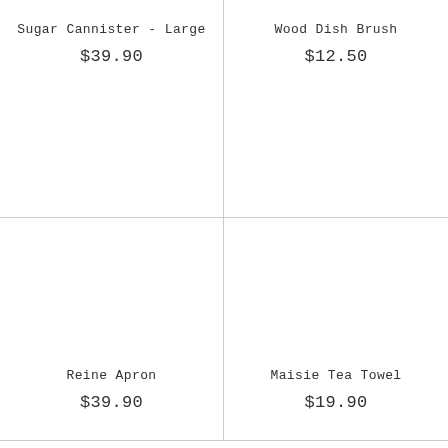Sugar Cannister - Large
$39.90
Wood Dish Brush
$12.50
Reine Apron
$39.90
Maisie Tea Towel
$19.90